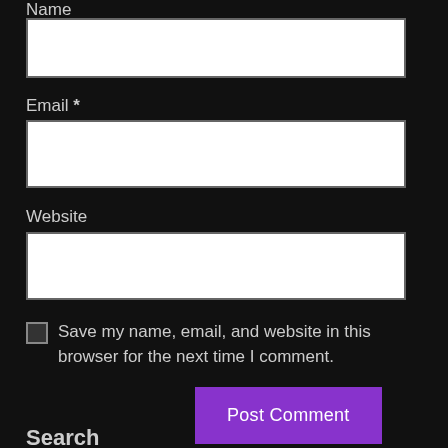Name
[Figure (other): Name input text field (empty white rectangle)]
Email *
[Figure (other): Email input text field (empty white rectangle)]
Website
[Figure (other): Website input text field (empty white rectangle)]
Save my name, email, and website in this browser for the next time I comment.
Post Comment
Search